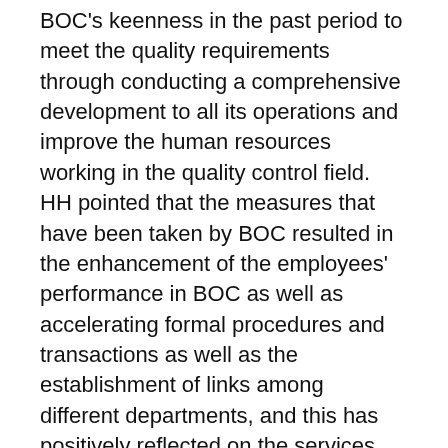BOC's keenness in the past period to meet the quality requirements through conducting a comprehensive development to all its operations and improve the human resources working in the quality control field. HH pointed that the measures that have been taken by BOC resulted in the enhancement of the employees' performance in BOC as well as accelerating formal procedures and transactions as well as the establishment of links among different departments, and this has positively reflected on the services provided by BOC. “The reception of this highly-reputed certificate is an outcome of the new strategy implemented by BOC, which focused on providing a distinct and unique administrative system that is able to actively participate in the development of administrative work within the committee in addition to providing quality services to all sectors in the Kingdom of Bahrain,” HH Shaikh Nasser explained, stressing that this certificate is a testimony came to confirm the integrity of the administrative and